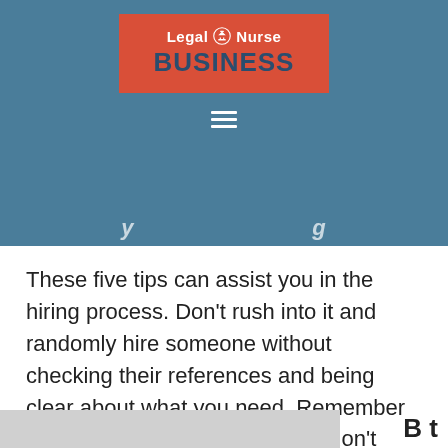[Figure (logo): Legal Nurse Business logo on red background with courthouse icon]
Legal Nurse Business navigation header with hamburger menu
These five tips can assist you in the hiring process. Don't rush into it and randomly hire someone without checking their references and being clear about what you need. Remember that they will represent you, so don't take any chances with your reputation.